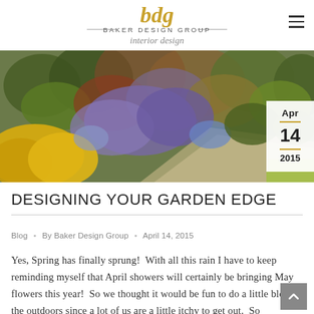[Figure (logo): Baker Design Group interior design logo with stylized 'bdg' script in gold and text 'BAKER DESIGN GROUP interior design']
[Figure (photo): Wide garden border photograph showing colorful mixed perennial planting with yellow, purple, and red flowers along a gravel path, with date badge overlay showing Apr 14 2015]
DESIGNING YOUR GARDEN EDGE
Blog  •  By Baker Design Group  •  April 14, 2015
Yes, Spring has finally sprung!  With all this rain I have to keep reminding myself that April showers will certainly be bringing May flowers this year!  So we thought it would be fun to do a little blog on the outdoors since a lot of us are a little itchy to get out.  So